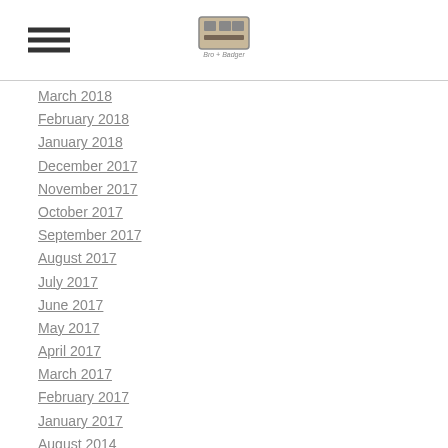[Figure (logo): Hamburger menu icon (three horizontal lines) on the left, and a small logo image in the center of the header]
March 2018
February 2018
January 2018
December 2017
November 2017
October 2017
September 2017
August 2017
July 2017
June 2017
May 2017
April 2017
March 2017
February 2017
January 2017
August 2014
November 2013
September 2013